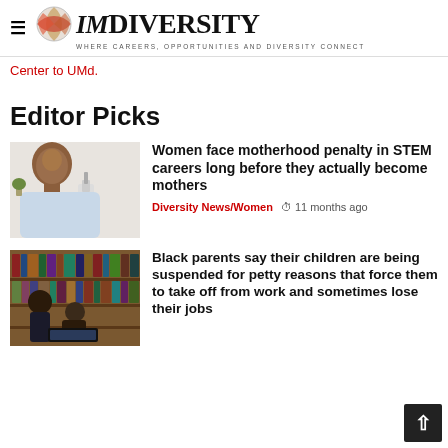IMDiversity — WHERE CAREERS, OPPORTUNITIES AND DIVERSITY CONNECT
Center to UMd.
Editor Picks
[Figure (photo): Woman in lab coat smiling next to a microscope]
Women face motherhood penalty in STEM careers long before they actually become mothers
Diversity News/Women  11 months ago
[Figure (photo): Woman and child with laptop in library/bookshelf setting]
Black parents say their children are being suspended for petty reasons that force them to take off from work and sometimes lose their jobs